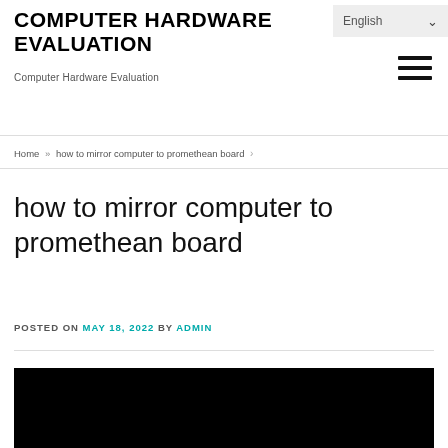COMPUTER HARDWARE EVALUATION
Computer Hardware Evaluation
English
Home » how to mirror computer to promethean board
how to mirror computer to promethean board
POSTED ON MAY 18, 2022 BY ADMIN
[Figure (photo): Black video/image area at the bottom of the page]